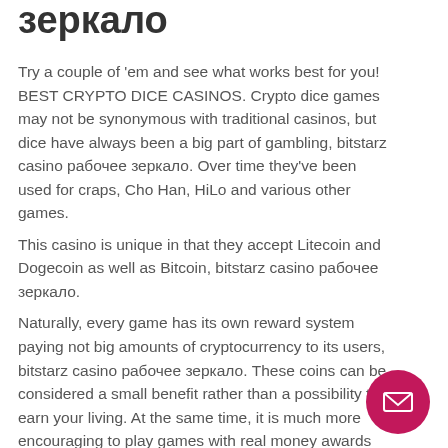зеркало
Try a couple of 'em and see what works best for you! BEST CRYPTO DICE CASINOS. Crypto dice games may not be synonymous with traditional casinos, but dice have always been a big part of gambling, bitstarz casino рабочее зеркало. Over time they've been used for craps, Cho Han, HiLo and various other games.
This casino is unique in that they accept Litecoin and Dogecoin as well as Bitcoin, bitstarz casino рабочее зеркало.
Naturally, every game has its own reward system paying not big amounts of cryptocurrency to its users, bitstarz casino рабочее зеркало. These coins can be considered a small benefit rather than a possibility to earn your living. At the same time, it is much more encouraging to play games with real money awards than do without them. Naturally, some game developers compete with such a position...
[Figure (other): Pink circular button with envelope/mail icon]